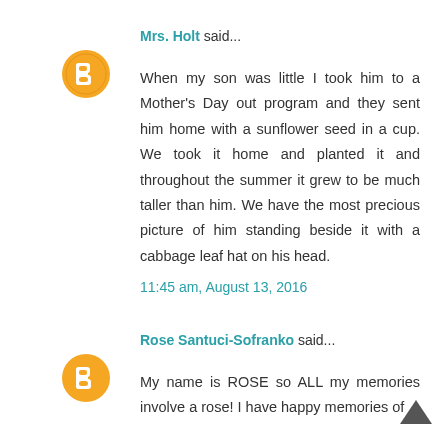Mrs. Holt said...
When my son was little I took him to a Mother's Day out program and they sent him home with a sunflower seed in a cup. We took it home and planted it and throughout the summer it grew to be much taller than him. We have the most precious picture of him standing beside it with a cabbage leaf hat on his head.
11:45 am, August 13, 2016
Rose Santuci-Sofranko said...
My name is ROSE so ALL my memories involve a rose! I have happy memories of